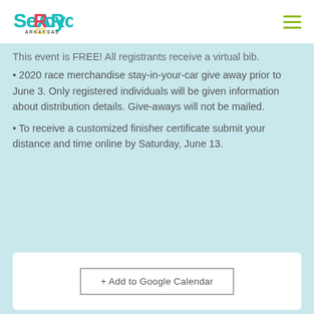Event Highlights
[Figure (logo): Searcy Arkansas logo in teal/turquoise color]
This event is FREE! All registrants receive a virtual bib.
2020 race merchandise stay-in-your-car give away prior to June 3. Only registered individuals will be given information about distribution details. Give-aways will not be mailed.
To receive a customized finisher certificate submit your distance and time online by Saturday, June 13.
+ Add to Google Calendar